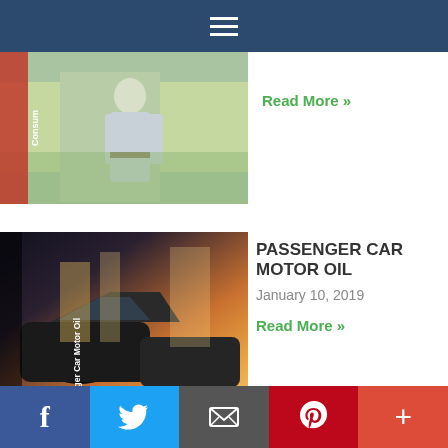[Figure (screenshot): Website navigation bar with hamburger menu icon on dark blue background]
[Figure (photo): Partially visible article image showing a person outdoors with a green label tag reading 'Consum']
Read More »
[Figure (photo): Article image showing cars at a gas station with warm sunlight, with vertical label 'Passenger Car Motor Oil']
PASSENGER CAR MOTOR OIL
January 10, 2019
Read More »
We use cookies on our website to give you the most relevant experience by remembering your preferences and repeat visits. By clicking "Accept All", you consent to the use of ALL the cookies. However, you may visit "Cookie Settings" to provide a controlled consent.
[Figure (screenshot): Social sharing bar with Facebook, Twitter, Email, Pinterest, and More buttons]